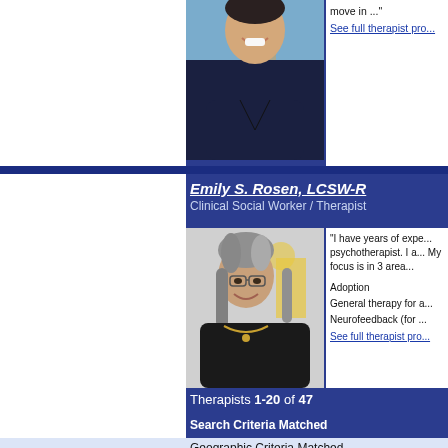[Figure (photo): Partial photo of male therapist smiling, dark top, outdoor background]
move in ...
See full therapist pro...
Emily S. Rosen, LCSW-R
Clinical Social Worker / Therapist
[Figure (photo): Photo of Emily S. Rosen, a woman with gray streaked hair, glasses, wearing black top with necklace, smiling]
"I have years of expe... psychotherapist. I a... My focus is in 3 area...

Adoption
General therapy for a...
Neurofeedback (for ...
See full therapist pro...
Therapists 1-20 of 47
Search Criteria Matched
Geographic Criteria Matched